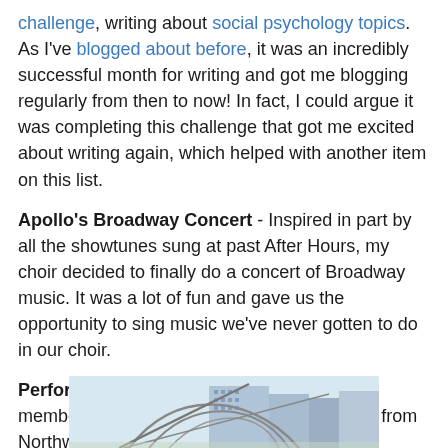challenge, writing about social psychology topics. As I've blogged about before, it was an incredibly successful month for writing and got me blogging regularly from then to now! In fact, I could argue it was completing this challenge that got me excited about writing again, which helped with another item on this list.
Apollo's Broadway Concert - Inspired in part by all the showtunes sung at past After Hours, my choir decided to finally do a concert of Broadway music. It was a lot of fun and gave us the opportunity to sing music we've never gotten to do in our choir.
Performing at Pritzker Pavilion - In May, members of my choir teamed up with singers from Northwestern University to perform Mahler's Second Symphony. This was my first time performing at both venues: Pick-Staiger at Northwestern University and Pritzker Pavilion in Millennium Park.
[Figure (photo): Partial photo of Pritzker Pavilion at Millennium Park, showing the distinctive steel band shell structure and surrounding buildings]